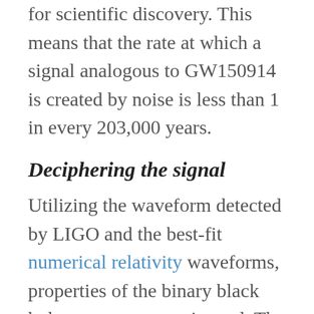for scientific discovery. This means that the rate at which a signal analogous to GW150914 is created by noise is less than 1 in every 203,000 years.
Deciphering the signal
Utilizing the waveform detected by LIGO and the best-fit numerical relativity waveforms, properties of the binary black hole system were estimated. The waveforms of binary black holes depend on 15 intrinsic (e.g. spin, mass) and extrinsic